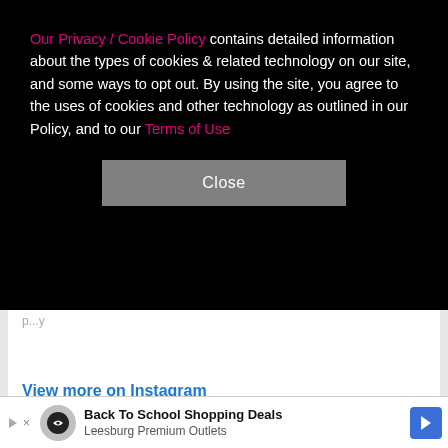Our Privacy / Cookie Policy contains detailed information about the types of cookies & related technology on our site, and some ways to opt out. By using the site, you agree to the uses of cookies and other technology as outlined in our Policy, and to our Terms of Use
Close
View more on Instagram
271 likes
haileydgolf
A few words in regards to recent events...
[Figure (screenshot): Instagram action icons: heart (like), speech bubble (comment), share arrow, and bookmark icon]
Back To School Shopping Deals Leesburg Premium Outlets